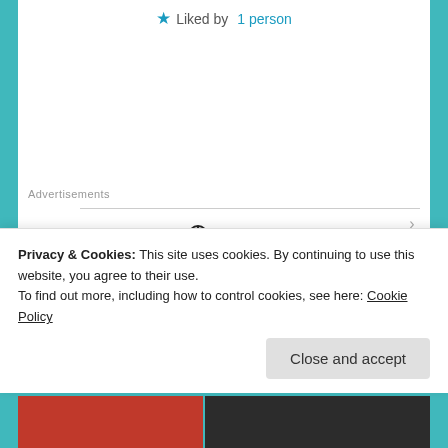★ Liked by 1 person
Advertisements
[Figure (logo): Automattic company logo with compass icon replacing the letter O]
Build a better web and a better world.
Apply
[Figure (photo): Circular cropped photo of a man wearing glasses and a beige shirt, looking upward thoughtfully]
Privacy & Cookies: This site uses cookies. By continuing to use this website, you agree to their use.
To find out more, including how to control cookies, see here: Cookie Policy
Close and accept